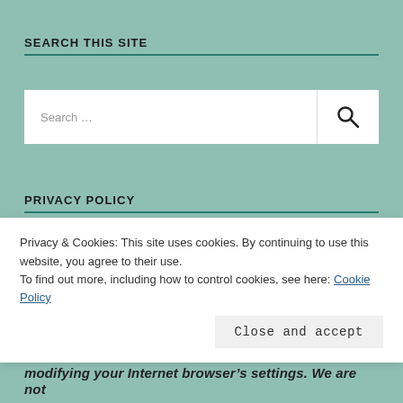SEARCH THIS SITE
[Figure (screenshot): Search input box with search icon button on the right]
PRIVACY POLICY
A Little Book Problem does not share personal
Privacy & Cookies: This site uses cookies. By continuing to use this website, you agree to their use.
To find out more, including how to control cookies, see here: Cookie Policy
Close and accept
modifying your Internet browser's settings. We are not